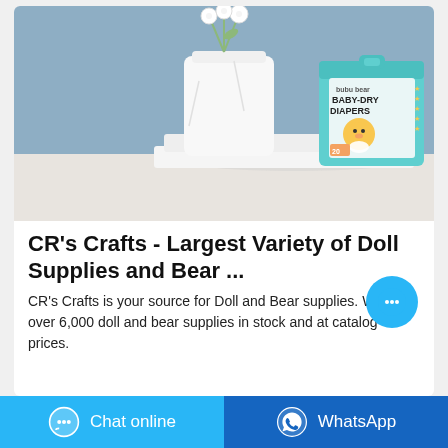[Figure (photo): Product photo of bubu bear BABY-DRY DIAPERS box (teal/mint colored packaging with cartoon bear character) placed on folded white cloth, with a white vase with white flowers in the background against a blue-grey wall.]
CR's Crafts - Largest Variety of Doll Supplies and Bear ...
CR's Crafts is your source for Doll and Bear supplies. We have over 6,000 doll and bear supplies in stock and at catalog prices.
Chat online
WhatsApp